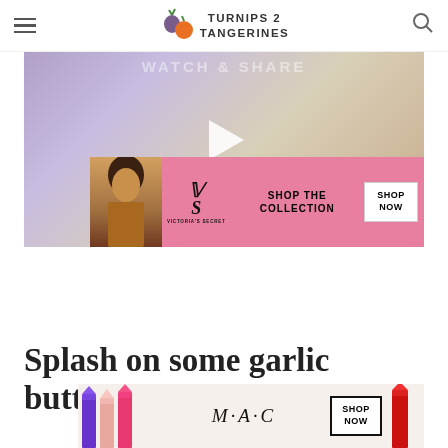Turnips 2 Tangerines
[Figure (photo): Video thumbnail showing food (likely a garlic butter dish) with a play button overlay and a Victoria's Secret advertisement banner overlaid]
[Figure (photo): MAC cosmetics advertisement banner showing lipsticks in purple, pink, and red with MAC logo and SHOP NOW button]
Splash on some garlic butter